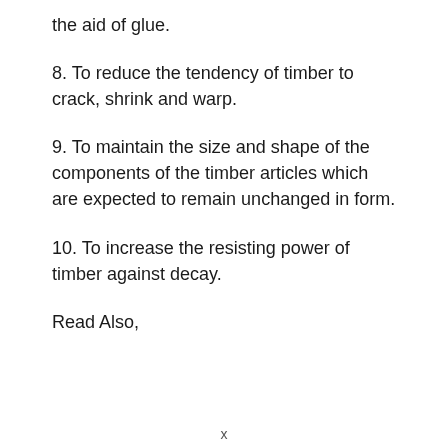the aid of glue.
8. To reduce the tendency of timber to crack, shrink and warp.
9. To maintain the size and shape of the components of the timber articles which are expected to remain unchanged in form.
10. To increase the resisting power of timber against decay.
Read Also,
x